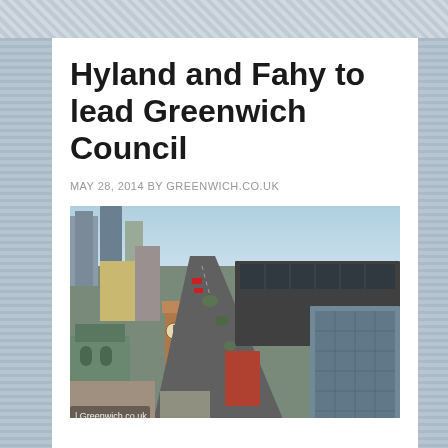Hyland and Fahy to lead Greenwich Council
MAY 28, 2014 BY GREENWICH.CO.UK
[Figure (photo): Aerial view of Greenwich town centre showing streets, buildings, a clock tower, Woolwich Arsenal station roof, and modern glass office buildings. Watermark reads 'Greenwich.co.uk'.]